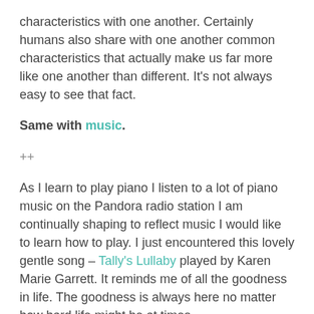characteristics with one another.  Certainly humans also share with one another common characteristics that actually make us far more like one another than different.  It's not always easy to see that fact.
Same with music.
++
As I learn to play piano I listen to a lot of piano music on the Pandora radio station I am continually shaping to reflect music I would like to learn how to play.  I just encountered this lovely gentle song – Tally's Lullaby played by Karen Marie Garrett.  It reminds me of all the goodness in life.  The goodness is always here no matter how hard life might be at times.